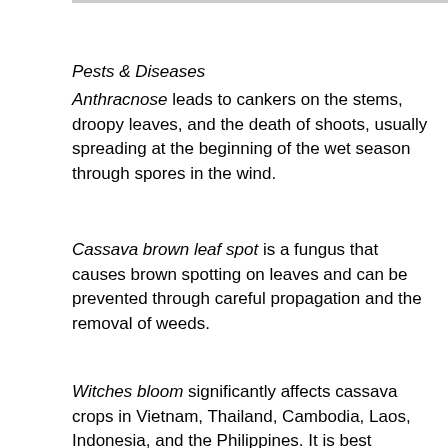Pests & Diseases
Anthracnose leads to cankers on the stems, droopy leaves, and the death of shoots, usually spreading at the beginning of the wet season through spores in the wind.
Cassava brown leaf spot is a fungus that causes brown spotting on leaves and can be prevented through careful propagation and the removal of weeds.
Witches bloom significantly affects cassava crops in Vietnam, Thailand, Cambodia, Laos, Indonesia, and the Philippines. It is best controlled by good crop management and the destruction of any infected specimens.